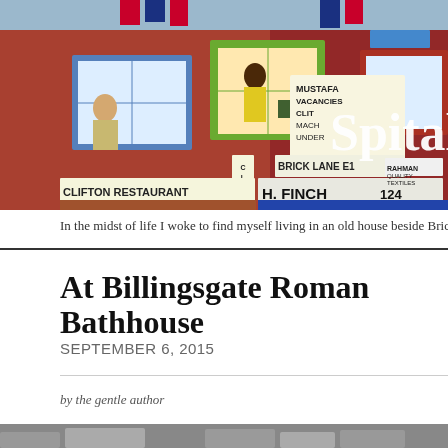[Figure (illustration): Colourful painted mural depicting Brick Lane storefronts including Clifton Restaurant, H. Finch 124, and other East London shops with signs for Mustafa Vacancies, Brick Lane E1, Rahman Quality Textiles, and figures in windows]
In the midst of life I woke to find myself living in an old house beside Brick Lane in the
At Billingsgate Roman Bathhouse
SEPTEMBER 6, 2015
by the gentle author
[Figure (photo): Partial view of stone ruins, possibly Roman bathhouse archaeological remains]